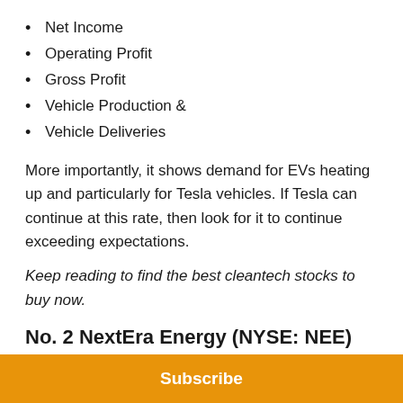Net Income
Operating Profit
Gross Profit
Vehicle Production &
Vehicle Deliveries
More importantly, it shows demand for EVs heating up and particularly for Tesla vehicles. If Tesla can continue at this rate, then look for it to continue exceeding expectations.
Keep reading to find the best cleantech stocks to buy now.
No. 2 NextEra Energy (NYSE: NEE)
Industry: Utility
Market Cap: 173.8B
Subscribe